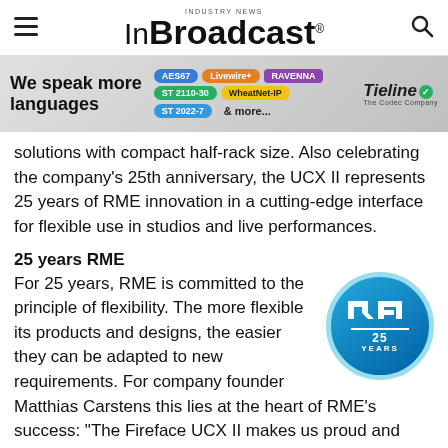InBroadcast — INDUSTRY NEWS
[Figure (infographic): Tieline advertisement banner: 'We speak more languages' with protocol badges AES67, Livewire+, RAVENNA, ST 2110-30, WheatNet-IP, ST 2022-7, & more... Tieline The Codec Company logo.]
solutions with compact half-rack size. Also celebrating the company's 25th anniversary, the UCX II represents 25 years of RME innovation in a cutting-edge interface for flexible use in studios and live performances.
25 years RME
For 25 years, RME is committed to the principle of flexibility. The more flexible its products and designs, the easier they can be adapted to new requirements. For company founder Matthias Carstens this lies at the heart of RME's success: "The Fireface UCX II makes us proud and enthusiastic as it represents a natural evolution of our product range."
[Figure (logo): RME 25 YEARS circular badge logo with light blue border on blue gradient background]